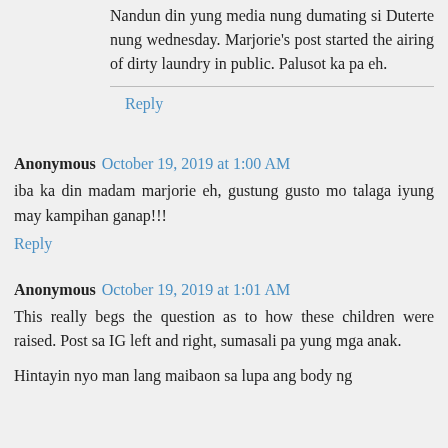Nandun din yung media nung dumating si Duterte nung wednesday. Marjorie's post started the airing of dirty laundry in public. Palusot ka pa eh.
Reply
Anonymous  October 19, 2019 at 1:00 AM
iba ka din madam marjorie eh, gustung gusto mo talaga iyung may kampihan ganap!!!
Reply
Anonymous  October 19, 2019 at 1:01 AM
This really begs the question as to how these children were raised. Post sa IG left and right, sumasali pa yung mga anak.
Hintayin nyo man lang maibaon sa lupa ang body ng